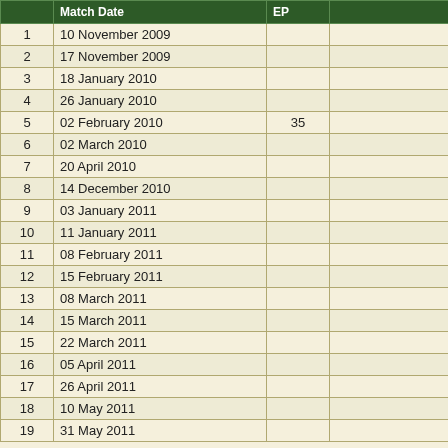| # | Match Date | EP |  |
| --- | --- | --- | --- |
| 1 | 10 November 2009 |  |  |
| 2 | 17 November 2009 |  |  |
| 3 | 18 January 2010 |  |  |
| 4 | 26 January 2010 |  |  |
| 5 | 02 February 2010 | 35 | (Pa |
| 6 | 02 March 2010 |  |  |
| 7 | 20 April 2010 |  |  |
| 8 | 14 December 2010 |  |  |
| 9 | 03 January 2011 |  |  |
| 10 | 11 January 2011 |  |  |
| 11 | 08 February 2011 |  |  |
| 12 | 15 February 2011 |  |  |
| 13 | 08 March 2011 |  |  |
| 14 | 15 March 2011 |  | (Lady & The Tramps |
| 15 | 22 March 2011 |  |  |
| 16 | 05 April 2011 |  | (S |
| 17 | 26 April 2011 |  |  |
| 18 | 10 May 2011 |  |  |
| 19 | 31 May 2011 |  |  |